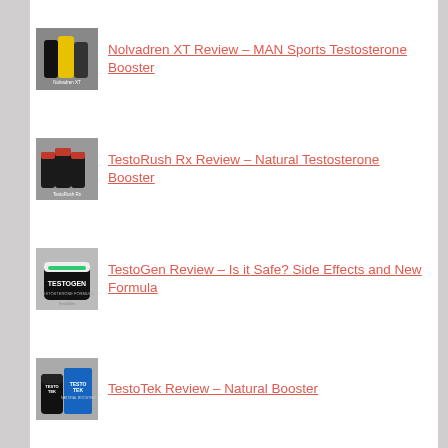Nolvadren XT Review – MAN Sports Testosterone Booster
TestoRush Rx Review – Natural Testosterone Booster
TestoGen Review – Is it Safe? Side Effects and New Formula
TestoTek Review – Natural Booster